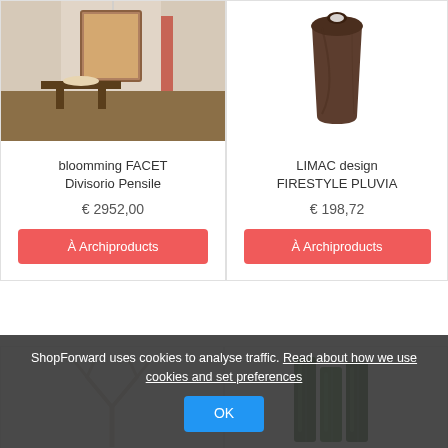[Figure (photo): Interior room photo showing a decorated bathroom/dining area with chandelier and floral wallpaper]
bloomming FACET Divisorio Pensile
€ 2952,00
À Archiproducts
[Figure (photo): Dark brown leather wastebasket/bin product photo]
LIMAC design FIRESTYLE PLUVIA
€ 198,72
À Archiproducts
[Figure (photo): White branch/lamp product photo]
[Figure (photo): Green glass bottles/vases product photo]
ShopForward uses cookies to analyse traffic. Read about how we use cookies and set preferences
OK